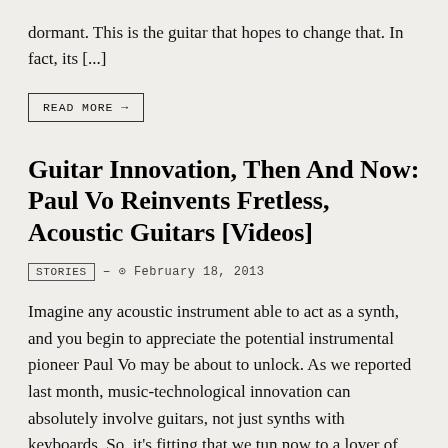dormant. This is the guitar that hopes to change that. In fact, its [...]
READ MORE →
Guitar Innovation, Then And Now: Paul Vo Reinvents Fretless, Acoustic Guitars [Videos]
STORIES – ⊙ February 18, 2013
Imagine any acoustic instrument able to act as a synth, and you begin to appreciate the potential instrumental pioneer Paul Vo may be about to unlock. As we reported last month, music-technological innovation can absolutely involve guitars, not just synths with keyboards. So, it's fitting that we tun now to a lover of keyboards and [...]